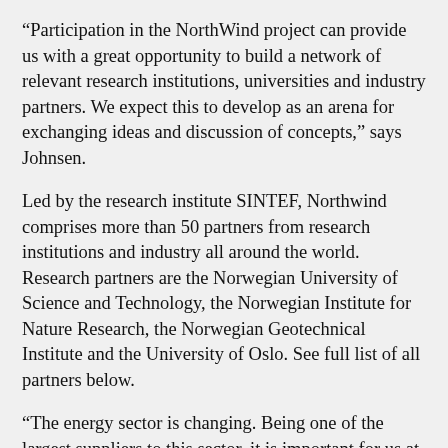“Participation in the NorthWind project can provide us with a great opportunity to build a network of relevant research institutions, universities and industry partners. We expect this to develop as an arena for exchanging ideas and discussion of concepts,” says Johnsen.
Led by the research institute SINTEF, Northwind comprises more than 50 partners from research institutions and industry all around the world. Research partners are the Norwegian University of Science and Technology, the Norwegian Institute for Nature Research, the Norwegian Geotechnical Institute and the University of Oslo. See full list of all partners below.
“The energy sector is changing. Being one of the largest suppliers to this sector, it is important for us at NOV to stay ahead of the game. Offshore floating wind is an area with great growth potential, but also with a number of challenges that must be met before this potential can be realized. We believe that our vast expertise and experience, especially with regards to offshore engineering, will be useful in this sector. NOV powers